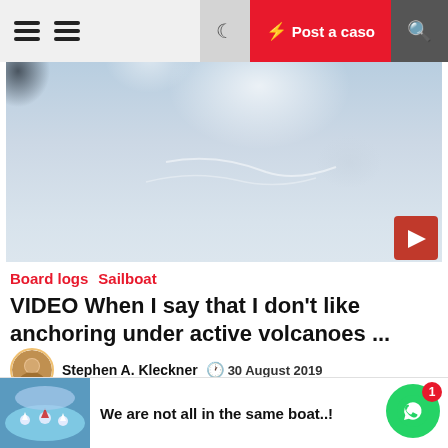Post a caso
[Figure (photo): Aerial or distant view of volcanic smoke/eruption with misty sky background and a red play button in the bottom right corner]
Board logs  Sailboat
VIDEO When I say that I don't like anchoring under active volcanoes ...
Stephen A. Kleckner  30 August 2019
This summer I'm back in Sicily We made beautiful trips around all the islands, Vulcano, Lipari, Alicudi, Filicudi, Panarea, Salina, we went to make beautiful visits to the wineries on the islands and for fruit fields. we went to the caves and
We are not all in the same boat..!